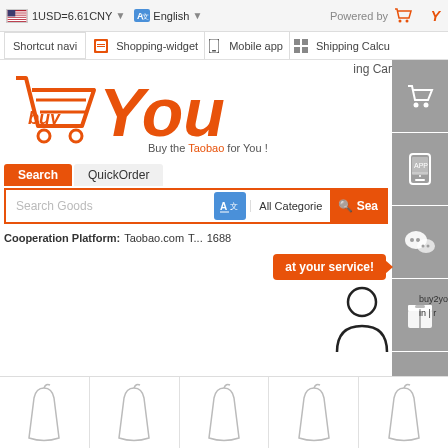1USD=6.61CNY  English  Powered by BuyYou
Shortcut navi | Shopping-widget | Mobile app | Shipping Calcu...
[Figure (logo): BuyYou logo with orange shopping cart and 'you' text in orange italic]
Buy the Taobao for You !
Search  QuickOrder
Search Goods  All Categorie...  Sea...
Cooperation Platform:  Taobao.com  T...  1688...
at your service!
[Figure (screenshot): Right side floating panel with shopping cart, mobile app, WeChat, package, and menu icons in gray]